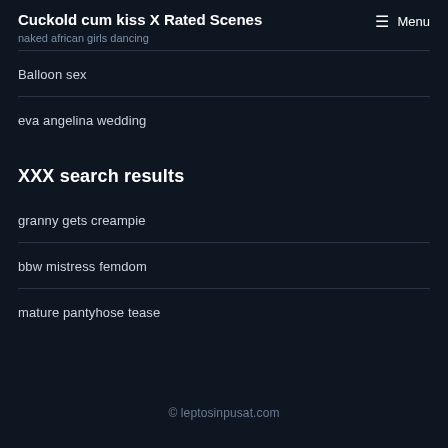Cuckold cum kiss X Rated Scenes
naked african girls dancing
Menu
Balloon sex
eva angelina wedding
XXX search results
granny gets creampie
bbw mistress femdom
mature pantyhose tease
© leptosinpusat.com